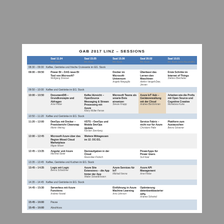GAB 2017 LINZ – SESSIONS
|  | Saal 11.04 EG. Stock | Saal 15.05 EG. Hann | Saal 15.06 EG. Stock | Saal 20.02 EG. Stock | Saal 10.01 EG. Stock, Linke Raumhälfte |
| --- | --- | --- | --- | --- | --- |
| 08:30 – 09:00 | Kaffee, Getränke und frische Croissants im EG. Stock |  |  |  |  |
| 09:00 – 09:50 | Power BI – DAS neue BI Tool von Microsoft?
Wolfgang Strasser |  | Docker im Microsoft-Universum
Angelo Marguglio | Überlasst das Lernen den Maschinen
Andrew Vangeli-Daw, Jensen | Erste Schritte im Internet of Things
Stefano Sarchelan |
| 09:50 – 10:00 | Kaffee und Getränke im EG. Stock |  |  |  |  |
| 10:00 – 10:50 | DocumentDB – Grundkonzepte und Abfragen
Arne Flicke | Kafka Hürsicht – OpenSource Messaging & Stream Processing mit Azure
Klarry Müller Ferran | Microsoft Teams als smarte Bots einsetzen
Stevan Knapp | Azure IoT Hub – Geräteverwaltung mit der Cloud
Andrew Borchinman | Arbeiten wie die Profis mit Open Source und Cognitive Creative
Mickeliana Kulas |
| 10:50 – 11:20 | Kaffee und Getränke im EG. Stock |  |  |  |  |
| 11:20 – 12:00 | DevOps mit Docker – Praxisbericht Clearsnap
Martin Meiring | VSTS – DevOps und Mobile DevOps Update
Karsten Sternberg |  | Service Fabric – nicht nur für Azure
Christiaan Palte | Plattform zum Austauschen
Benno Scharner |
| 12:00 – 12:45 | Microsoft Azure über das Region Mixed Cloud Marketplace
Migan Müxer | Weitere Mittagessen im 12. OG EG. |  |  |  |
| 12:45 – 13:35 | Angular und Azure
Manfred Steier | Darmaufgaben in der Cloud
Maximilian Fridrich |  | PowerApps für Power Users
Suil Niad |  |
| 13:35 – 13:45 | Kaffee, Getränke und Kuchen im EG. Stock |  |  |  |  |
| 13:45 – 14:35 | Logic mit Logic
Benno Schachner | Azure Site Extensions – die App hinter der App
Walter Schartenmann | Azure Services für IoT
Mittriad Nenna | Azure API Management
Arne Flicke |  |
| 14:35 – 14:45 | Kaffee und Getränke im EG. Stock |  |  |  |  |
| 14:45 – 15:30 | Serverless mit Azure Functions
Andrew Nowak |  | Einführung in Azure Machine Learning
Arno Johnson | Optimierung datenbankbasierter APIs
Andrew Schwind |  |
| 15:45 – 16:00 | Pause |  |  |  |  |
| 15:45 – 16:00 | Abschluss |  |  |  |  |